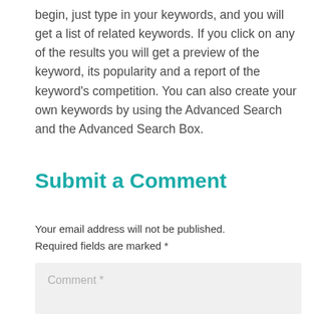begin, just type in your keywords, and you will get a list of related keywords. If you click on any of the results you will get a preview of the keyword, its popularity and a report of the keyword's competition. You can also create your own keywords by using the Advanced Search and the Advanced Search Box.
Submit a Comment
Your email address will not be published. Required fields are marked *
Comment *